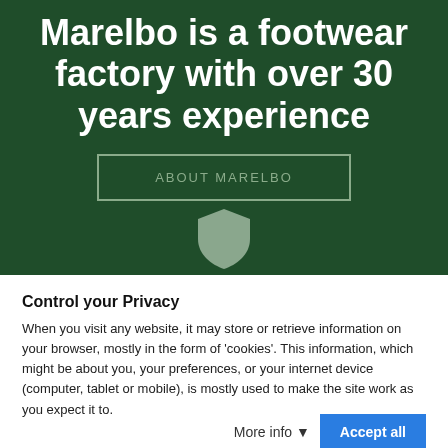Marelbo is a footwear factory with over 30 years experience
ABOUT MARELBO
[Figure (illustration): Shield/leather logo icon in light grey-green color]
Control your Privacy
When you visit any website, it may store or retrieve information on your browser, mostly in the form of 'cookies'. This information, which might be about you, your preferences, or your internet device (computer, tablet or mobile), is mostly used to make the site work as you expect it to.
More info ▾
Accept all